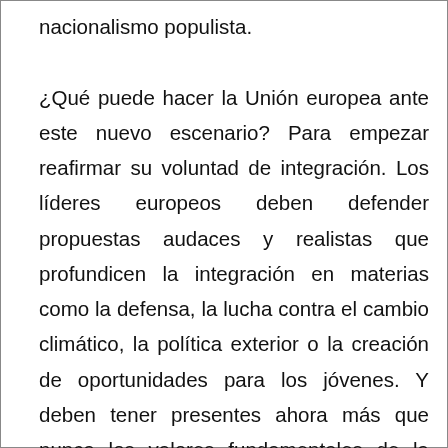nacionalismo populista.

¿Qué puede hacer la Unión europea ante este nuevo escenario? Para empezar reafirmar su voluntad de integración. Los líderes europeos deben defender propuestas audaces y realistas que profundicen la integración en materias como la defensa, la lucha contra el cambio climático, la política exterior o la creación de oportunidades para los jóvenes. Y deben tener presentes ahora más que nunca los valores fundamentales de la Unión. El proyecto europeo siempre se basó en la tolerancia, la solidaridad y el